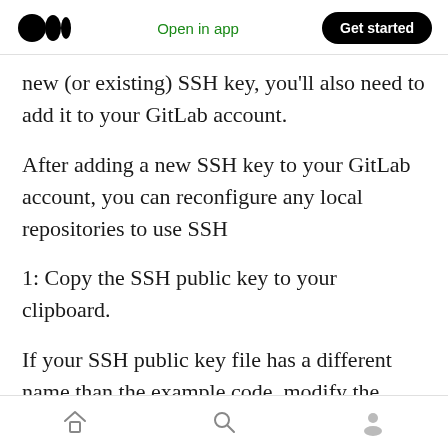Open in app  Get started
new (or existing) SSH key, you'll also need to add it to your GitLab account.
After adding a new SSH key to your GitLab account, you can reconfigure any local repositories to use SSH
1: Copy the SSH public key to your clipboard.
If your SSH public key file has a different name than the example code, modify the filename to match your current setup. When copying your key, don't add any newlines or whitespace.
Home  Search  Profile